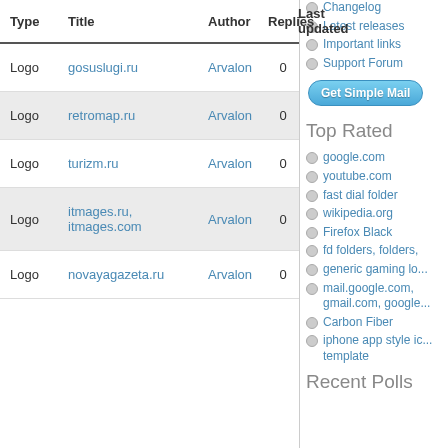| Type | Title | Author | Replies | Last updated |
| --- | --- | --- | --- | --- |
| Logo | gosuslugi.ru | Arvalon | 0 |  |
| Logo | retromap.ru | Arvalon | 0 |  |
| Logo | turizm.ru | Arvalon | 0 |  |
| Logo | itmages.ru, itmages.com | Arvalon | 0 |  |
| Logo | novayagazeta.ru | Arvalon | 0 |  |
Changelog
Latest releases
Important links
Support Forum
Top Rated
google.com
youtube.com
fast dial folder
wikipedia.org
Firefox Black
fd folders, folders,
generic gaming lo...
mail.google.com, gmail.com, google...
Carbon Fiber
iphone app style ic... template
Recent Polls